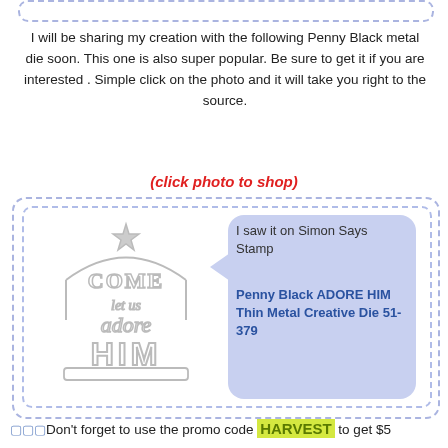[Figure (other): Decorative dashed border strip at top of page]
I will be sharing my creation with the following Penny Black metal die soon. This one is also super popular. Be sure to get it if you are interested . Simple click on the photo and it will take you right to the source.
(click photo to shop)
[Figure (illustration): Product listing card with dashed border containing a metal die cut image of 'Come let us adore HIM' Christmas die (Penny Black ADORE HIM Thin Metal Creative Die 51-379) with a speech bubble saying 'I saw it on Simon Says Stamp' and product info]
🔲🔲🔲Don't forget to use the promo code HARVEST to get $5